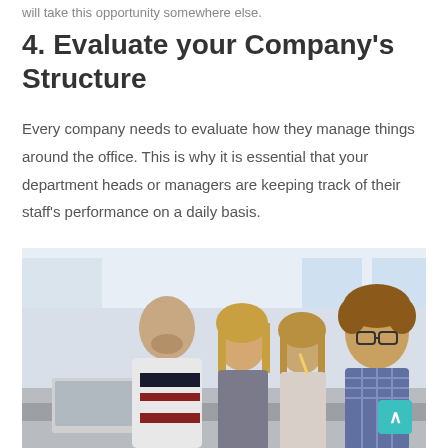will take this opportunity somewhere else.
4. Evaluate your Company's Structure
Every company needs to evaluate how they manage things around the office. This is why it is essential that your department heads or managers are keeping track of their staff's performance on a daily basis.
[Figure (photo): Group of four young professionals/students sitting together at a table with a laptop, looking at the camera in an office or classroom setting.]